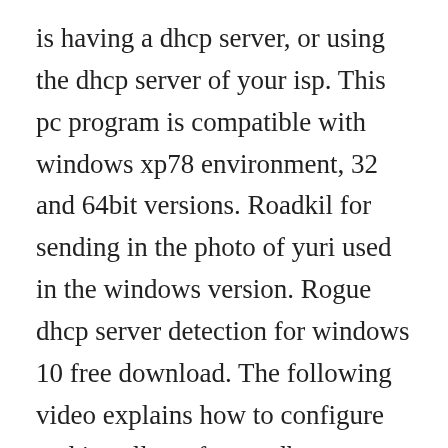is having a dhcp server, or using the dhcp server of your isp. This pc program is compatible with windows xp78 environment, 32 and 64bit versions. Roadkil for sending in the photo of yuri used in the windows version. Rogue dhcp server detection for windows 10 free download. The following video explains how to configure and install a software dhcp server. Supports filtering of ranges on mac address, vendor and user class.
Free download rogue dhcp server detection for windows 10. Windows xp dhcp server